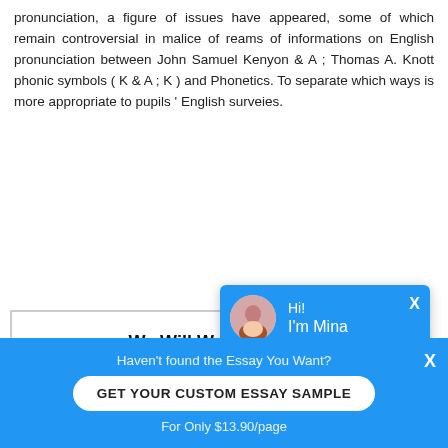pronunciation, a figure of issues have appeared, some of which remain controversial in malice of reams of informations on English pronunciation between John Samuel Kenyon & A ; Thomas A. Knott phonic symbols ( K & A ; K ) and Phonetics. To separate which ways is more appropriate to pupils ' English surveies.
[Figure (screenshot): Promotional box with text 'We Will Write a Sp For You For' and a blue 'OR' button, partially obscured by chat popup. Chat popup with blue header showing avatar and 'Hi! I'm Mina', body text 'Would you like to get such a paper? How about receiving a customized one? Check it out']
1.2 THE INTENT OF STU
Haven't found the Essay You Want?
GET YOUR CUSTOM ESSAY SAMPLE
For Only $13.90/page